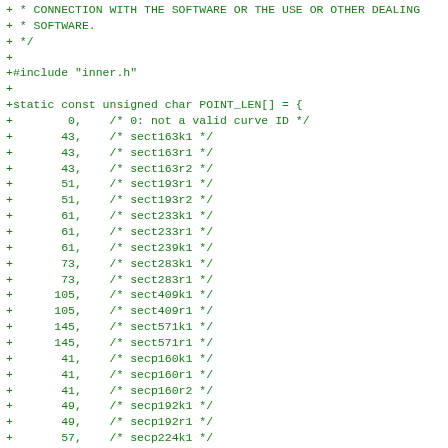+ * CONNECTION WITH THE SOFTWARE OR THE USE OR OTHER DEALING
+ * SOFTWARE.
+ */
+
+#include "inner.h"
+
+static const unsigned char POINT_LEN[] = {
+        0,    /* 0: not a valid curve ID */
+       43,    /* sect163k1 */
+       43,    /* sect163r1 */
+       43,    /* sect163r2 */
+       51,    /* sect193r1 */
+       51,    /* sect193r2 */
+       61,    /* sect233k1 */
+       61,    /* sect233r1 */
+       61,    /* sect239k1 */
+       73,    /* sect283k1 */
+       73,    /* sect283r1 */
+      105,    /* sect409k1 */
+      105,    /* sect409r1 */
+      145,    /* sect571k1 */
+      145,    /* sect571r1 */
+       41,    /* secp160k1 */
+       41,    /* secp160r1 */
+       41,    /* secp160r2 */
+       49,    /* secp192k1 */
+       49,    /* secp192r1 */
+       57,    /* secp224k1 */
+       57,    /* secp224r1 */
+       65,    /* secp256k1 */
+       65,    /* secp256r1 */
+       97,    /* secp384r1 */
+      129,    /* secp521r1 */